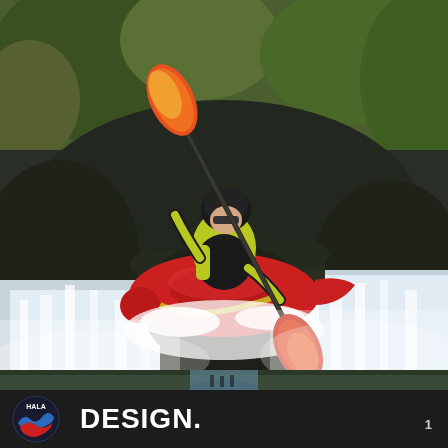[Figure (photo): A kayaker in a red kayak and yellow jacket with black helmet paddles over the edge of a waterfall surrounded by lush green vegetation. White water crashes below on dark rocks on either side.]
David Clement
[Figure (logo): HALA logo: circular emblem with blue and red wave design and the word HALA]
DESIGN.
1